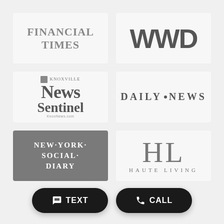[Figure (logo): Financial Times logo in gray serif text]
[Figure (logo): WWD logo in dark gray bold sans-serif]
[Figure (logo): Knoxville News Sentinel logo in gray serif]
[Figure (logo): Daily News logo in gray serif with dot dividers]
[Figure (logo): New York Social Diary logo white on gray background]
[Figure (logo): Haute Living HL logo in gray serif]
TEXT
CALL